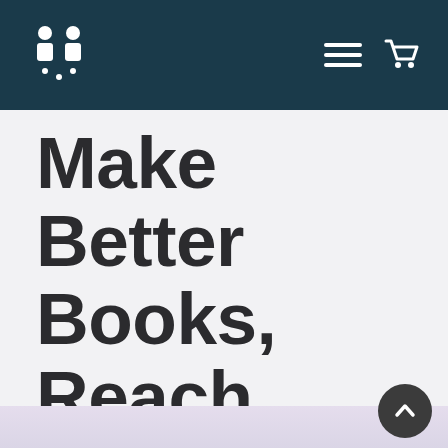Make Better Books logo, navigation menu and cart icons
Make Better Books, Reach More Readers. Sign up for a
[Figure (illustration): Scroll-to-top circular button with upward chevron arrow, dark gray circle, positioned bottom right]